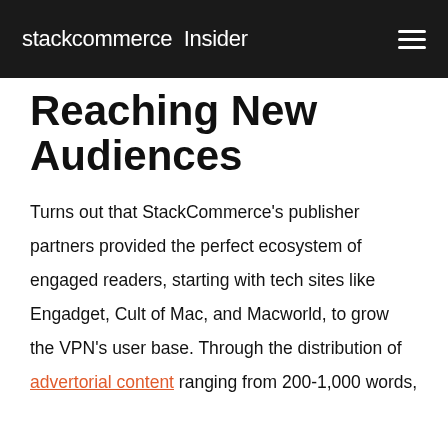stackcommerce Insider
Reaching New Audiences
Turns out that StackCommerce's publisher partners provided the perfect ecosystem of engaged readers, starting with tech sites like Engadget, Cult of Mac, and Macworld, to grow the VPN's user base. Through the distribution of advertorial content ranging from 200-1,000 words,